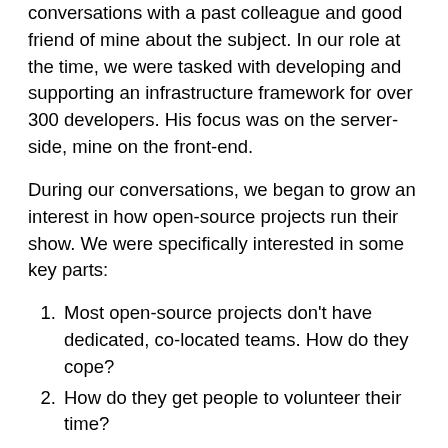conversations with a past colleague and good friend of mine about the subject. In our role at the time, we were tasked with developing and supporting an infrastructure framework for over 300 developers. His focus was on the server-side, mine on the front-end.
During our conversations, we began to grow an interest in how open-source projects run their show. We were specifically interested in some key parts:
Most open-source projects don't have dedicated, co-located teams. How do they cope?
How do they get people to volunteer their time?
How do they support their ever growing user base while staying adaptable?
It's hard to remember the specifics of the conversations, but the idea remains clear: Open-source projects face problems that, when you think about it, many internal projects face within